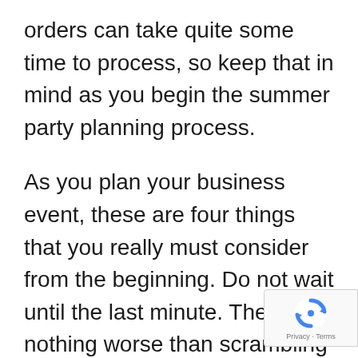orders can take quite some time to process, so keep that in mind as you begin the summer party planning process.
As you plan your business event, these are four things that you really must consider from the beginning. Do not wait until the last minute. There is nothing worse than scrambling around in the last few days trying to fix things that never would have happened if you would have planned for them from the beginning. Plan ahead and get ready for